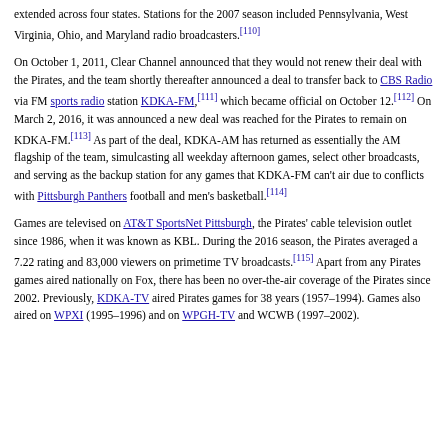extended across four states. Stations for the 2007 season included Pennsylvania, West Virginia, Ohio, and Maryland radio broadcasters.[110]
On October 1, 2011, Clear Channel announced that they would not renew their deal with the Pirates, and the team shortly thereafter announced a deal to transfer back to CBS Radio via FM sports radio station KDKA-FM,[111] which became official on October 12.[112] On March 2, 2016, it was announced a new deal was reached for the Pirates to remain on KDKA-FM.[113] As part of the deal, KDKA-AM has returned as essentially the AM flagship of the team, simulcasting all weekday afternoon games, select other broadcasts, and serving as the backup station for any games that KDKA-FM can't air due to conflicts with Pittsburgh Panthers football and men's basketball.[114]
Games are televised on AT&T SportsNet Pittsburgh, the Pirates' cable television outlet since 1986, when it was known as KBL. During the 2016 season, the Pirates averaged a 7.22 rating and 83,000 viewers on primetime TV broadcasts.[115] Apart from any Pirates games aired nationally on Fox, there has been no over-the-air coverage of the Pirates since 2002. Previously, KDKA-TV aired Pirates games for 38 years (1957–1994). Games also aired on WPXI (1995–1996) and on WPGH-TV and WCWB (1997–2002).